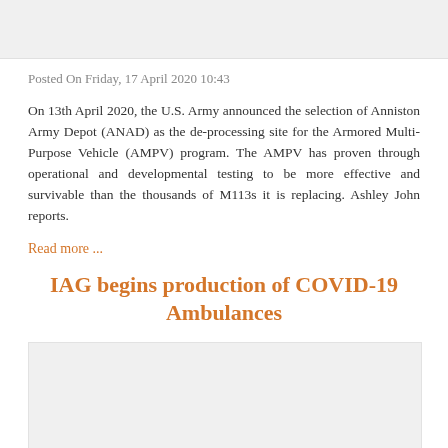[Figure (photo): Top banner image placeholder area]
Posted On Friday, 17 April 2020 10:43
On 13th April 2020, the U.S. Army announced the selection of Anniston Army Depot (ANAD) as the de-processing site for the Armored Multi-Purpose Vehicle (AMPV) program. The AMPV has proven through operational and developmental testing to be more effective and survivable than the thousands of M113s it is replacing. Ashley John reports.
Read more ...
IAG begins production of COVID-19 Ambulances
[Figure (photo): Bottom article image placeholder area]